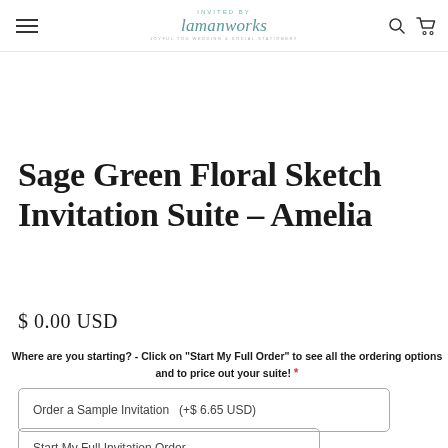Invited by Lamanworks — logo and navigation
Sage Green Floral Sketch Invitation Suite – Amelia
$ 0.00 USD
Where are you starting? - Click on "Start My Full Order" to see all the ordering options and to price out your suite! *
Order a Sample Invitation  (+$ 6.65 USD)
Start My Full Invitation Order